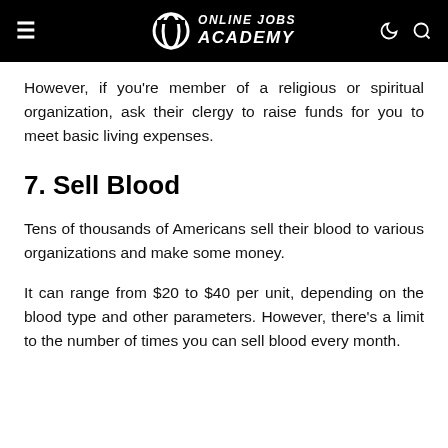ONLINE JOBS ACADEMY
However, if you're member of a religious or spiritual organization, ask their clergy to raise funds for you to meet basic living expenses.
7. Sell Blood
Tens of thousands of Americans sell their blood to various organizations and make some money.
It can range from $20 to $40 per unit, depending on the blood type and other parameters. However, there's a limit to the number of times you can sell blood every month.